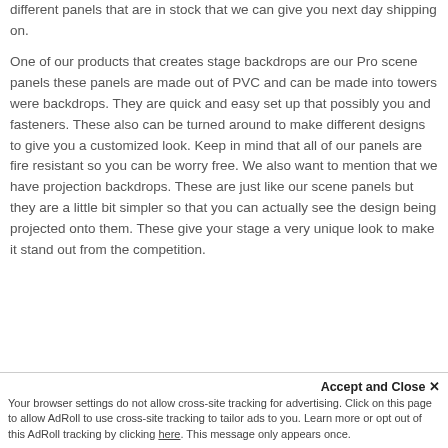different panels that are in stock that we can give you next day shipping on.

One of our products that creates stage backdrops are our Pro scene panels these panels are made out of PVC and can be made into towers were backdrops. They are quick and easy set up that possibly you and fasteners. These also can be turned around to make different designs to give you a customized look. Keep in mind that all of our panels are fire resistant so you can be worry free. We also want to mention that we have projection backdrops. These are just like our scene panels but they are a little bit simpler so that you can actually see the design being projected onto them. These give your stage a very unique look to make it stand out from the competition.
Accept and Close ×
Your browser settings do not allow cross-site tracking for advertising. Click on this page to allow AdRoll to use cross-site tracking to tailor ads to you. Learn more or opt out of this AdRoll tracking by clicking here. This message only appears once.